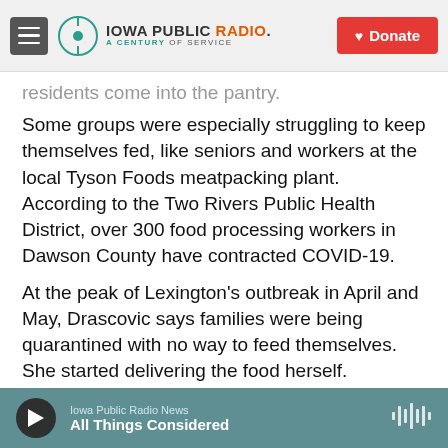Iowa Public Radio. A Century of Service | Donate
residents come into the pantry.
Some groups were especially struggling to keep themselves fed, like seniors and workers at the local Tyson Foods meatpacking plant. According to the Two Rivers Public Health District, over 300 food processing workers in Dawson County have contracted COVID-19.
At the peak of Lexington’s outbreak in April and May, Drascovic says families were being quarantined with no way to feed themselves. She started delivering the food herself.
“At the beginning, I was like, ‘Well, I’m not gonna make a person come out, even though it is
Iowa Public Radio News | All Things Considered